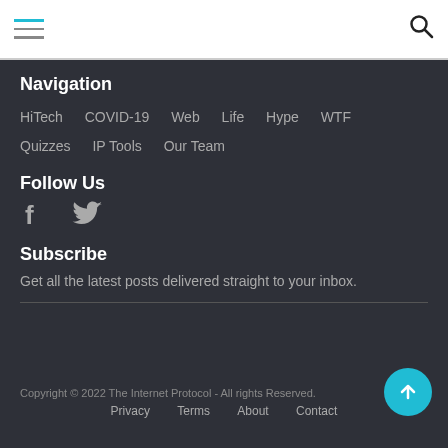[hamburger menu icon] [search icon]
Navigation
HiTech
COVID-19
Web
Life
Hype
WTF
Quizzes
IP Tools
Our Team
Follow Us
[Figure (illustration): Facebook and Twitter social media icons]
Subscribe
Get all the latest posts delivered straight to your inbox.
Copyright © 2022 The Internet Protocol - All rights Reserved.
Privacy   Terms   About   Contact